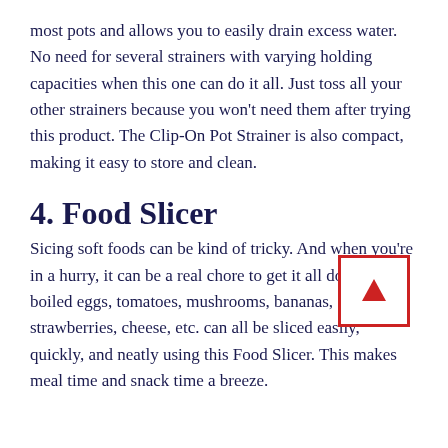most pots and allows you to easily drain excess water. No need for several strainers with varying holding capacities when this one can do it all. Just toss all your other strainers because you won't need them after trying this product. The Clip-On Pot Strainer is also compact, making it easy to store and clean.
4. Food Slicer
Sicing soft foods can be kind of tricky. And when you're in a hurry, it can be a real chore to get it all done. Hard boiled eggs, tomatoes, mushrooms, bananas, strawberries, cheese, etc. can all be sliced easily, quickly, and neatly using this Food Slicer. This makes meal time and snack time a breeze.